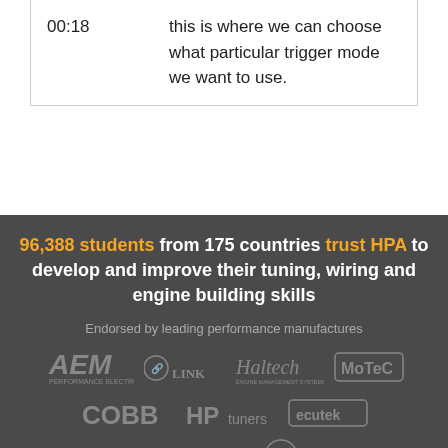| Timestamp | Text |
| --- | --- |
| 00:18 | this is where we can choose what particular trigger mode we want to use. |
96,388 students from 175 countries trust HPA to develop and improve their tuning, wiring and engine building skills
Endorsed by leading performance manufactures
[Figure (logo): Logos of AEM, Link, Haltech, MoTeC, COBB, HPtuners, ecutek, FuelTech, and one more brand on dark background]